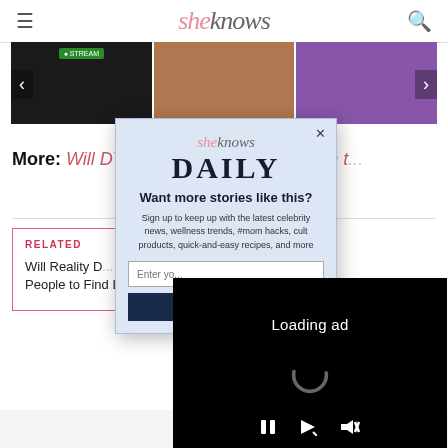sheknows
[Figure (screenshot): Image carousel strip with three thumbnail images and navigation arrows]
Report ad
More: Will DT... injury affect his future on t...
[Figure (screenshot): SheKnows Daily newsletter modal popup with sign-up form. Contains sheknows logo, DAILY heading, 'Want more stories like this?' headline, sign-up text, email input field, and dark subscribe button.]
[Figure (screenshot): Loading ad video player overlay with black background, loading spinner, and video controls (pause, fullscreen, mute)]
RELATED
Will Reality D... People to Find Love?